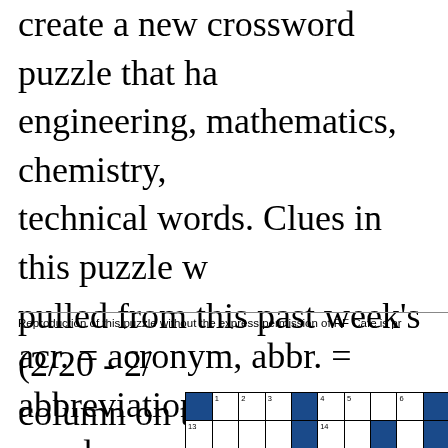create a new crossword puzzle that has engineering, mathematics, chemistry, technical words. Clues in this puzzle w pulled from this past week's (2/20 - 2/ column on the RF Cafe homepage. En
Reproduction of this puzzle without the express permission of RF Cafe is pr
acr. = acronym, abbr. = abbreviation, p words
[Figure (other): Partial crossword puzzle grid showing rows with numbered cells and blue/dark filled cells. Row 1 has cells numbered 1, 2, 3 (white), then a blue cell, then cells numbered 4, 5 (white), a blank white, 6 (white), a blue cell, 7 (white), and another white cell. Row 2 (number 13) has white cells, a blue cell, cell 14 white, white, blue, and more cells.]